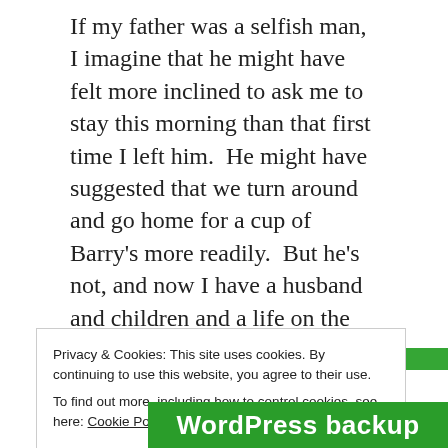If my father was a selfish man, I imagine that he might have felt more inclined to ask me to stay this morning than that first time I left him.  He might have suggested that we turn around and go home for a cup of Barry's more readily.  But he's not, and now I have a husband and children and a life on the other side of the Atlantic.  It's a good life, and I am blessed to have it, but despite my 21 years away it becomes increasingly obvious that my spiritual home is the one by the Lee, and it looks as though leaving Cork is never going to get any easier.
Advertisements
[Figure (other): Green advertisement banner bar]
Privacy & Cookies: This site uses cookies. By continuing to use this website, you agree to their use.
To find out more, including how to control cookies, see here: Cookie Policy
Close and accept
WordPress backup